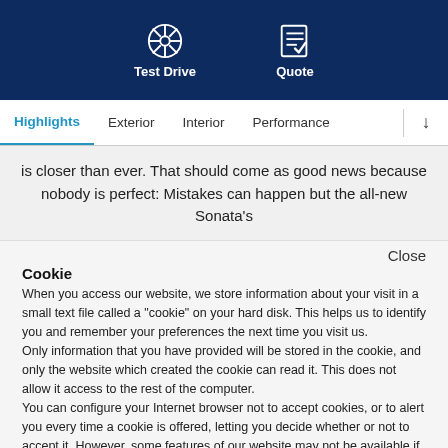[Figure (screenshot): Top navigation bar with Test Drive and Quote icons on dark navy background]
Highlights  Exterior  Interior  Performance
is closer than ever. That should come as good news because nobody is perfect: Mistakes can happen but the all-new Sonata's
Cookie
When you access our website, we store information about your visit in a small text file called a "cookie" on your hard disk. This helps us to identify you and remember your preferences the next time you visit us.
Only information that you have provided will be stored in the cookie, and only the website which created the cookie can read it. This does not allow it access to the rest of the computer.
You can configure your Internet browser not to accept cookies, or to alert you every time a cookie is offered, letting you decide whether or not to accept it. However, some features of our website may not be available if you prevent the use of cookies.
Accept